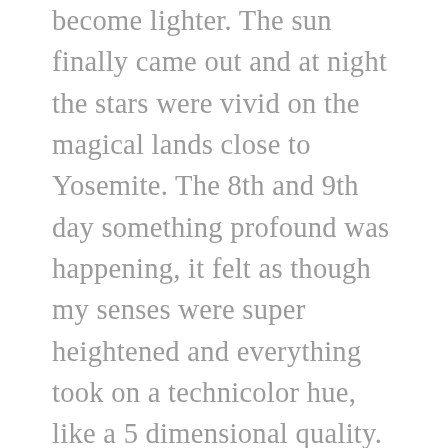become lighter. The sun finally came out and at night the stars were vivid on the magical lands close to Yosemite. The 8th and 9th day something profound was happening, it felt as though my senses were super heightened and everything took on a technicolor hue, like a 5 dimensional quality. The silence became solace and I felt an unburdening of my layers of consciousness, which created a lighter, buoyant sense.
Vipassana is a practice, of mindfulness and awareness every moment. To be present, now. Relinquishing normal reactions to